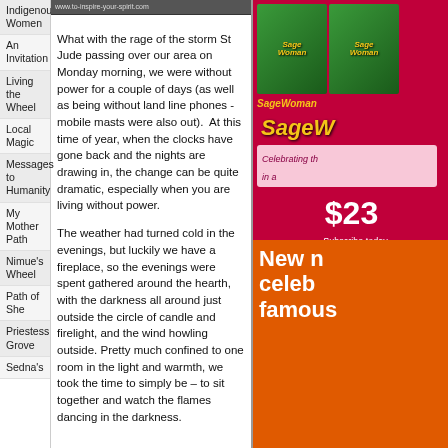Indigenous Women
An Invitation
Living the Wheel
Local Magic
Messages to Humanity
My Mother Path
Nimue's Wheel
Path of She
Priestess Grove
Sedna's
What with the rage of the storm St Jude passing over our area on Monday morning, we were without power for a couple of days (as well as being without land line phones - mobile masts were also out). At this time of year, when the clocks have gone back and the nights are drawing in, the change can be quite dramatic, especially when you are living without power.
The weather had turned cold in the evenings, but luckily we have a fireplace, so the evenings were spent gathered around the hearth, with the darkness all around just outside the circle of candle and firelight, and the wind howling outside. Pretty much confined to one room in the light and warmth, we took the time to simply be – to sit together and watch the flames dancing in the darkness.
[Figure (illustration): SageWoman magazine advertisement showing magazine covers, brand name in yellow italic, tagline 'Celebrating th... in a...', price $23, subscribe URL www.sage...]
[Figure (illustration): Orange advertisement banner with text 'New n... celeb... famous...' in white bold text]